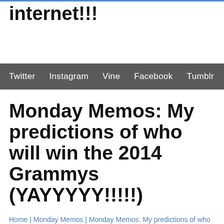internet!!!
Twitter | Instagram | Vine | Facebook | Tumblr
Monday Memos: My predictions of who will win the 2014 Grammys (YAYYYYY!!!!!)
Home | Monday Memos | Monday Memos: My predictions of who will win the 2014 Grammys (YAYYYYY!!!!!)